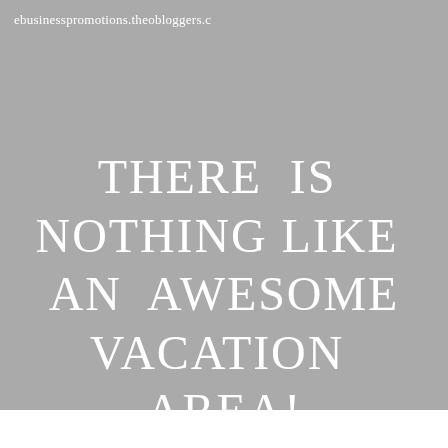ebusinesspromotions.theobloggers.c
THERE IS NOTHING LIKE AN AWESOME VACATION AREA!